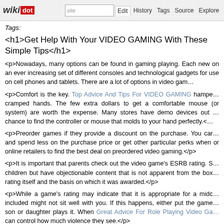wikidot | site | Edit | History | Tags | Source | Explore | Share on Twitter
Tags:
<h1>Get Help With Your VIDEO GAMING With These Simple Tips</h1>
<p>Nowadays, many options can be found in gaming playing. Each new on an ever increasing set of different consoles and technological gadgets for use on cell phones and tablets. There are a lot of options in video gam…
<p>Comfort is the key. Top Advice And Tips For VIDEO GAMING hampe… cramped hands. The few extra dollars to get a comfortable mouse (or system) are worth the expense. Many stores have demo devices out … chance to find the controller or mouse that molds to your hand perfectly.<…
<p>Preorder games if they provide a discount on the purchase. You car… and spend less on the purchase price or get other particular perks when or online retailers to find the best deal on preordered video gaming.</p>
<p>It is important that parents check out the video game's ESRB rating. S… children but have objectionable content that is not apparent from the box… rating itself and the basis on which it was awarded.</p>
<p>While a game's rating may indicate that it is appropriate for a midc… included might not sit well with you. If this happens, either put the game… son or daughter plays it. When Great Advice For Role Playing Video Ga… can control how much violence they see.</p>
<p>Check to see if the area you get video gaming from includes a rewar… on games, and even subscriptions to gaming mags. Want To Become A… extra money for trading in used games also. It may cost money to sign up…